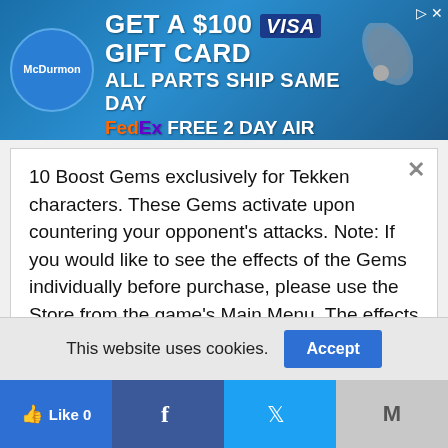[Figure (screenshot): McDurmon advertisement banner: GET A $100 VISA GIFT CARD, ALL PARTS SHIP SAME DAY, FedEx FREE 2 DAY AIR]
10 Boost Gems exclusively for Tekken characters. These Gems activate upon countering your opponent's attacks. Note: If you would like to see the effects of the Gems individually before purchase, please use the Store from the game's Main Menu. The effects of the Gems may be subject to change.
Street Fighter X Tekken: TK Boost Gem Pack 8
This website uses cookies.
[Figure (screenshot): Social sharing bar with Like 0 button, Facebook, Twitter, and Mail icons]